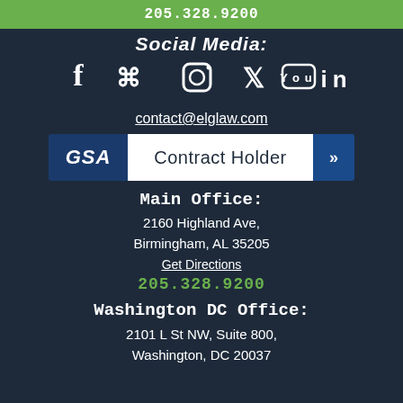205.328.9200
Social Media:
[Figure (illustration): Social media icons: Facebook, Pinterest, Instagram, Twitter, YouTube, LinkedIn]
contact@elglaw.com
[Figure (logo): GSA Contract Holder badge with blue GSA logo on left, white center with 'Contract Holder' text, and dark blue arrow on right]
Main Office:
2160 Highland Ave, Birmingham, AL 35205
Get Directions
205.328.9200
Washington DC Office:
2101 L St NW, Suite 800, Washington, DC 20037